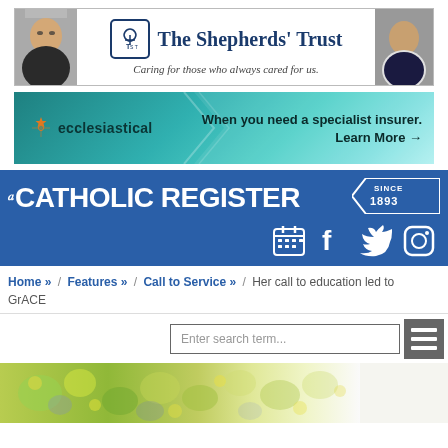[Figure (other): The Shepherds' Trust advertisement banner with two clergy faces on sides and logo with tagline 'Caring for those who always cared for us.']
[Figure (other): Ecclesiastical insurance advertisement banner with teal gradient background. Text: 'When you need a specialist insurer. Learn More →']
[Figure (logo): The Catholic Register newspaper masthead logo with 'SINCE 1893' badge, calendar, Facebook, Twitter, and Instagram icons on blue background]
Home » / Features » / Call to Service » / Her call to education led to GrACE
[Figure (screenshot): Search input field with placeholder 'Enter search term...' and hamburger menu button]
[Figure (photo): Bottom partial image showing colorful floral or fabric pattern in yellows, greens, and blues]